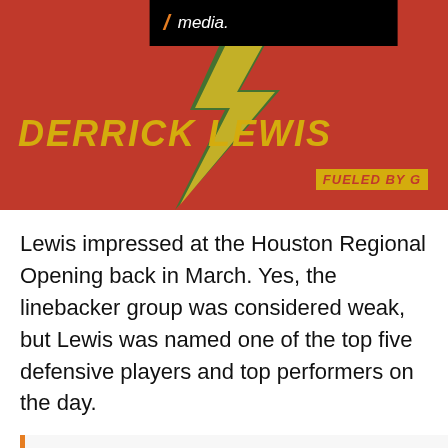[Figure (photo): Sports graphic with red background, lightning bolt, player name 'DERRICK LEWIS' in gold italic text, and 'FUELED BY G' logo. A black bar overlaid at top reads 'media.']
Lewis impressed at the Houston Regional Opening back in March. Yes, the linebacker group was considered weak, but Lewis was named one of the top five defensive players and top performers on the day.
“The linebacker group was the weakest position on defense, but Lewis stood out within the group,” wrote Charles Power of 247Sports. “The 6-foot-1, 215-pounder was fast, aggressive and decisive in space, moving well using his long arms to wrap up running backs. Holding just one offer from North Texas, don’t be surprised to see Lewis as a name who heats up during the evaluation period.”